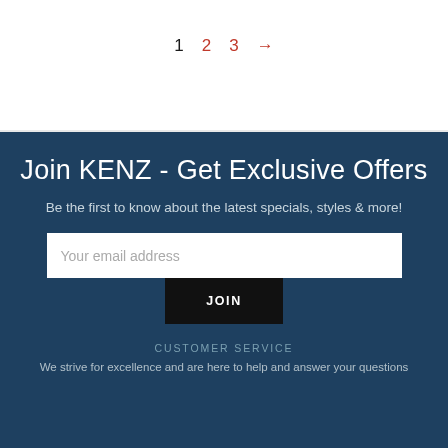1  2  3  →
Join KENZ - Get Exclusive Offers
Be the first to know about the latest specials, styles & more!
Your email address
JOIN
CUSTOMER SERVICE
We strive for excellence and are here to help and answer your questions